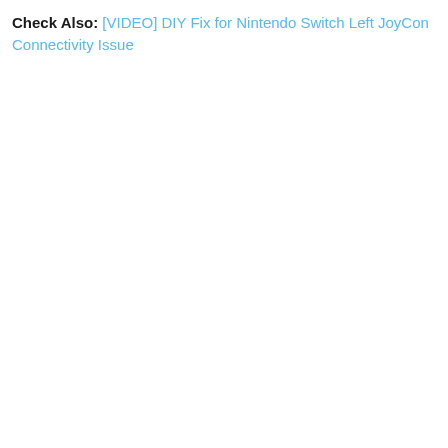Check Also: [VIDEO] DIY Fix for Nintendo Switch Left JoyCon Connectivity Issue